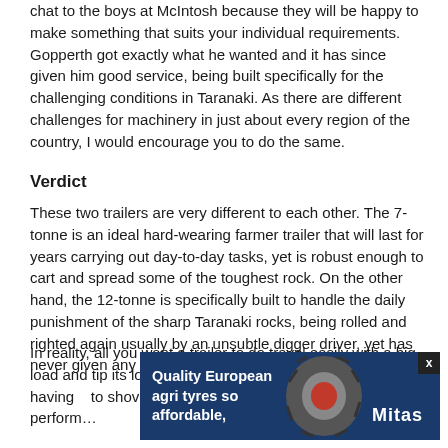chat to the boys at McIntosh because they will be happy to make something that suits your individual requirements. Gopperth got exactly what he wanted and it has since given him good service, being built specifically for the challenging conditions in Taranaki. As there are different challenges for machinery in just about every region of the country, I would encourage you to do the same.
Verdict
These two trailers are very different to each other. The 7-tonne is an ideal hard-wearing farmer trailer that will last for years carrying out day-to-day tasks, yet is robust enough to cart and spread some of the toughest rock. On the other hand, the 12-tonne is specifically built to handle the daily punishment of the sharp Taranaki rocks, being rolled and righted again usually by an unsubtle digger driver, yet has never given any grief and looks like it never will.
In reality, all you want a trailer to do travel easily with a big load and tip its load cleanly because it is a big task having to shovel it off. W… nd perform… he
[Figure (other): Advertisement banner for Mitas quality European agri tyres so affordable, showing a large agricultural tyre image and the Mitas logo on a dark blue background.]